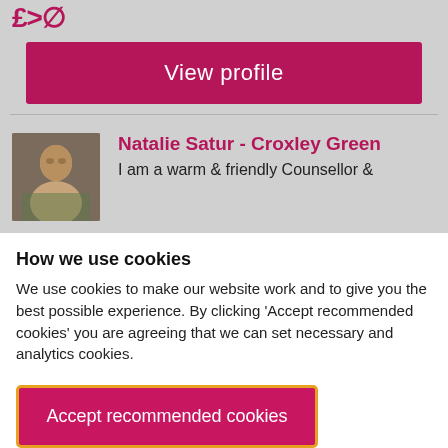[Figure (screenshot): View profile button on a grey background, part of a counsellor listing website]
Natalie Satur - Croxley Green
I am a warm & friendly Counsellor &
How we use cookies
We use cookies to make our website work and to give you the best possible experience. By clicking 'Accept recommended cookies' you are agreeing that we can set necessary and analytics cookies.
Accept recommended cookies
Manage cookies